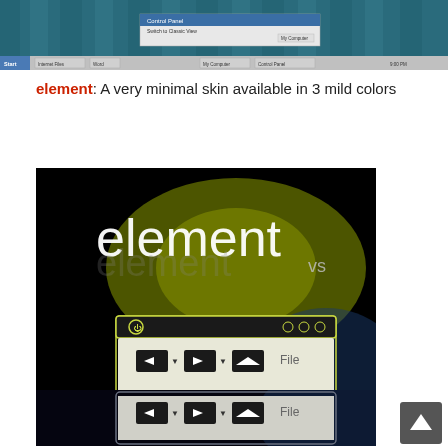[Figure (screenshot): Screenshot of a Windows desktop with teal/blue wallpaper showing vertical striped pattern and a Control Panel dialog box open at the top. Taskbar visible at the bottom.]
element: A very minimal skin available in 3 mild colors
[Figure (screenshot): Screenshot showing the 'element vs' skin theme on a black background with yellow-green glow. Two media player window UI examples are shown with playback controls (back, play, up arrows) and 'File' label. The text 'element vs' is displayed prominently at the top of the image.]
[Figure (illustration): Scroll-to-top button arrow icon in a dark gray square]